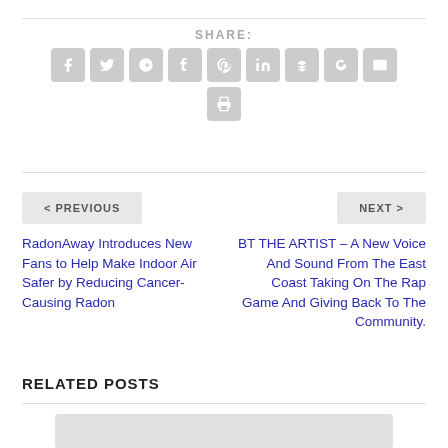SHARE:
[Figure (other): Social sharing icons: Facebook, Twitter, Google+, Tumblr, Pinterest, LinkedIn, Buffer, StumbleUpon, Email, Print]
< PREVIOUS
NEXT >
RadonAway Introduces New Fans to Help Make Indoor Air Safer by Reducing Cancer-Causing Radon
BT THE ARTIST – A New Voice And Sound From The East Coast Taking On The Rap Game And Giving Back To The Community.
RELATED POSTS